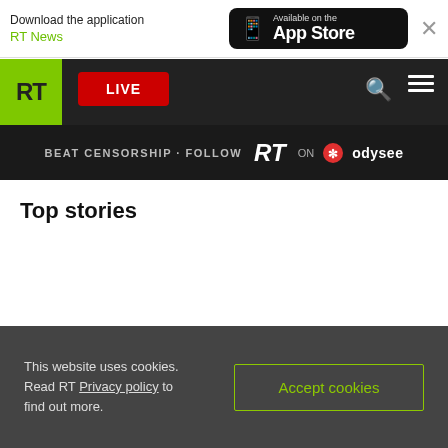Download the application RT News — Available on the App Store
[Figure (screenshot): RT News website navigation bar with green RT logo, red LIVE button, search and menu icons, and Odysee promotion banner]
Top stories
This website uses cookies. Read RT Privacy policy to find out more.